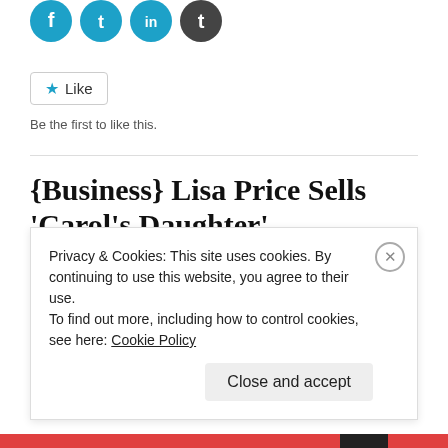[Figure (other): Social media share icons: Facebook, Twitter, LinkedIn, Tumblr circular icons]
Like
Be the first to like this.
{Business} Lisa Price Sells 'Carol's Daughter'
EDITOR / LEAVE A COMMENT
Lisa Price announced today that her company Carol's
Privacy & Cookies: This site uses cookies. By continuing to use this website, you agree to their use.
To find out more, including how to control cookies, see here: Cookie Policy
Close and accept